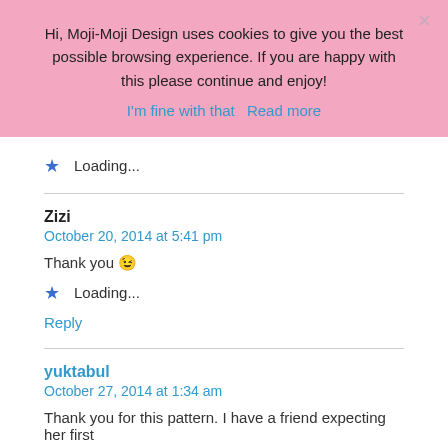Hi, Moji-Moji Design uses cookies to give you the best possible browsing experience. If you are happy with this please continue and enjoy!
I'm fine with that   Read more
★  Loading...
Zizi
October 20, 2014 at 5:41 pm
Thank you 😉
★  Loading...
Reply
yuktabul
October 27, 2014 at 1:34 am
Thank you for this pattern. I have a friend expecting her first